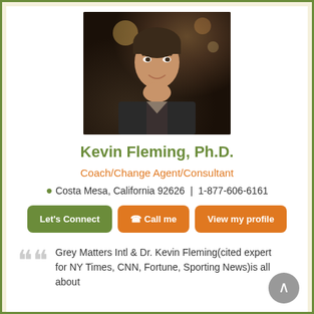[Figure (photo): Professional headshot of Kevin Fleming, Ph.D., a middle-aged man smiling with hand raised to chin, wearing a dark jacket, warm bokeh background with lights]
Kevin Fleming, Ph.D.
Coach/Change Agent/Consultant
Costa Mesa, California 92626 | 1-877-606-6161
Let's Connect  📞 Call me  View my profile
Grey Matters Intl & Dr. Kevin Fleming(cited expert for NY Times, CNN, Fortune, Sporting News)is all about